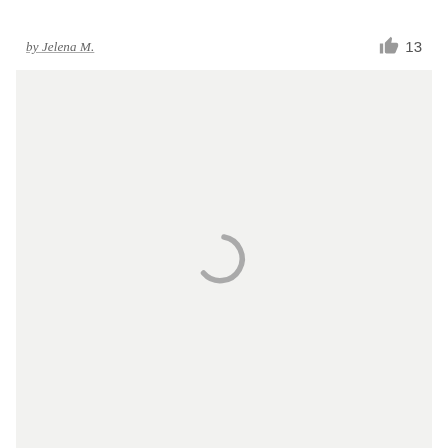by Jelena M.
13
[Figure (screenshot): Loading spinner (partial circle arc) centered in a light gray content area, indicating content is being loaded]